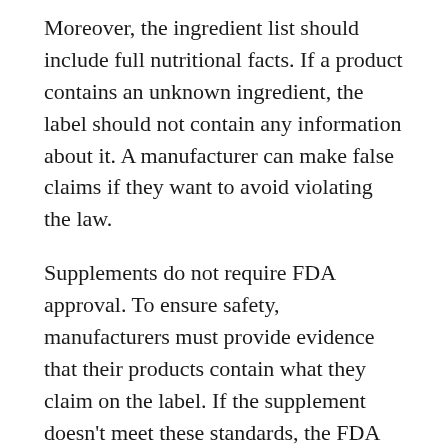Moreover, the ingredient list should include full nutritional facts. If a product contains an unknown ingredient, the label should not contain any information about it. A manufacturer can make false claims if they want to avoid violating the law.
Supplements do not require FDA approval. To ensure safety, manufacturers must provide evidence that their products contain what they claim on the label. If the supplement doesn't meet these standards, the FDA can take it off the market or force the manufacturer to recall it. The agency also has the right to require the companies to follow good manufacturing practices. This means that if a supplement is unsafe, it may be removed from the market or voluntarily recalled by the manufacturer.
In addition to the ingredients and their ingredients, supplements may contain contaminants. In addition,